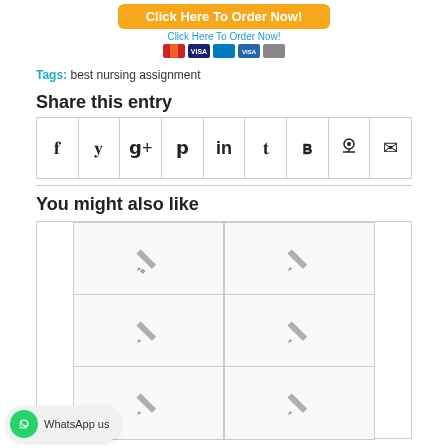[Figure (other): Orange order button with 'Click Here To Order Now!' text and payment icons below]
Tags: best nursing assignment
Share this entry
[Figure (other): Social share icons row: Facebook, Twitter, Google+, Pinterest, LinkedIn, Tumblr, VK, Reddit, Email]
You might also like
[Figure (other): Grid of 6 placeholder post thumbnails with pencil icons]
WhatsApp us